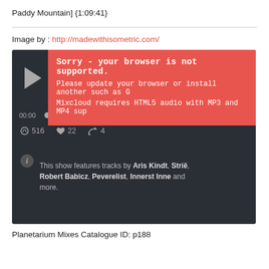Paddy Mountain] {1:09:41}
Image by : http://madewithisometric.com/
[Figure (screenshot): Mixcloud audio player embed showing a browser-not-supported error banner in red/salmon color. Error text: 'Sorry - your browser is not supported. Please update your browser or install another one such as G[oogle Chrome]. Mixcloud requires HTML5 audio with MP3 and MP4 sup[port].' Player shows time 00:00 and -1:15:24, stats: 516 listens, 22 favorites, 4 reposts. Info text: 'This show features tracks by Aris Kindt, Strië, Robert Babicz, Peverelist, Innerst Inne and more.']
Planetarium Mixes Catalogue ID: p188